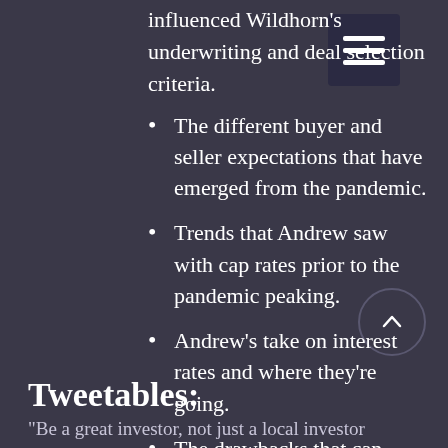influenced Wildhorn's underwriting and deal selection criteria.
The different buyer and seller expectations that have emerged from the pandemic.
Trends that Andrew saw with cap rates prior to the pandemic peaking.
Andrew's take on interest rates and where they're going.
The drawbacks that can come with working locally only.
Tweetables:
“Be a great investor, not just a local investor”